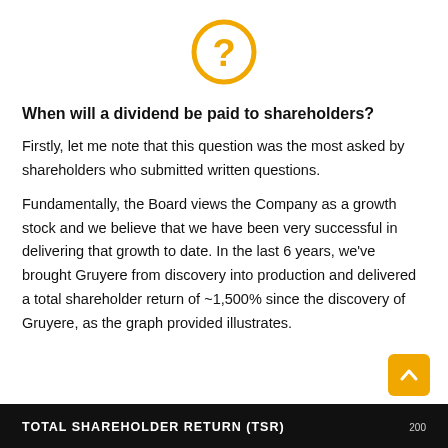[Figure (other): Gold/yellow circle with a question mark symbol inside, centered at top of page]
When will a dividend be paid to shareholders?
Firstly, let me note that this question was the most asked by shareholders who submitted written questions.

Fundamentally, the Board views the Company as a growth stock and we believe that we have been very successful in delivering that growth to date. In the last 6 years, we've brought Gruyere from discovery into production and delivered a total shareholder return of ~1,500% since the discovery of Gruyere, as the graph provided illustrates.
TOTAL SHAREHOLDER RETURN (TSR)